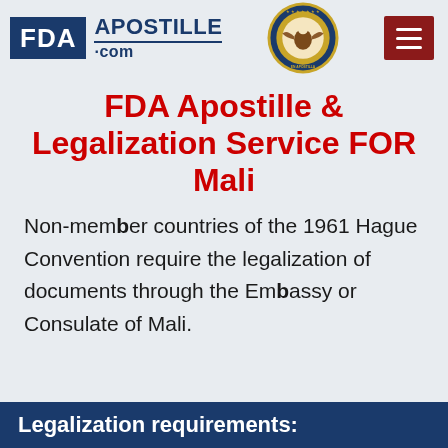[Figure (logo): FDA Apostille .com logo with blue FDA box, text APOSTILLE .com, and an apostille seal emblem in the center, and a dark red hamburger menu button on the right]
FDA Apostille & Legalization Service FOR Mali
Non-member countries of the 1961 Hague Convention require the legalization of documents through the Embassy or Consulate of Mali.
Legalization requirements: